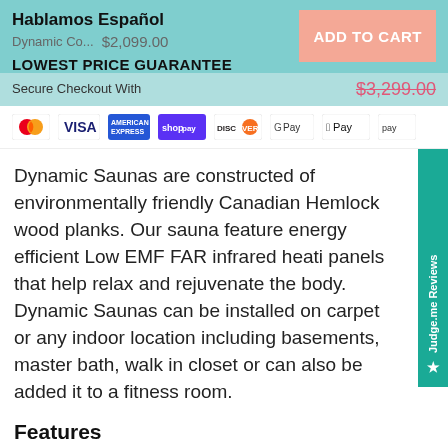Hablamos Español
Dynamic Co... $2,099.00
ADD TO CART
LOWEST PRICE GUARANTEE
$3,299.00
Secure Checkout With
[Figure (other): Payment method icons: Mastercard, VISA, American Express, Shop Pay, Discover, Google Pay, Apple Pay, Amazon Pay]
Dynamic Saunas are constructed of environmentally friendly Canadian Hemlock wood planks. Our saunas feature energy efficient Low EMF FAR infrared heating panels that help relax and rejuvenate the body. Dynamic Saunas can be installed on carpet or any indoor location including basements, master bath, walk in closet or can also be added it to a fitness room.
Features
This item will be delivered and picked up...